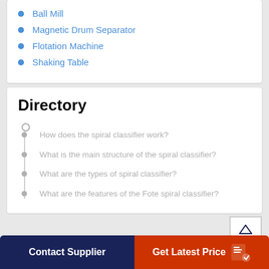Ball Mill
Magnetic Drum Separator
Flotation Machine
Shaking Table
Directory
How does the spiral classifier work?
What is the main structure of the spiral classifier?
What are the types of spiral classifier?
What are the features of the Fote spiral classifier?